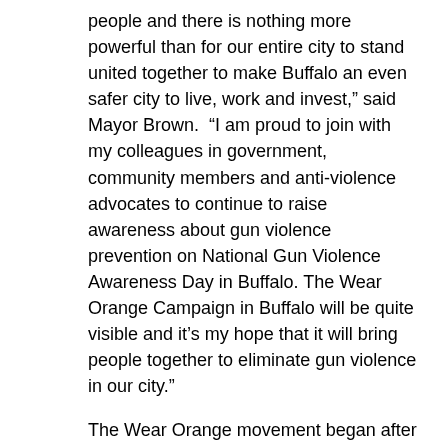people and there is nothing more powerful than for our entire city to stand united together to make Buffalo an even safer city to live, work and invest," said Mayor Brown.  "I am proud to join with my colleagues in government, community members and anti-violence advocates to continue to raise awareness about gun violence prevention on National Gun Violence Awareness Day in Buffalo. The Wear Orange Campaign in Buffalo will be quite visible and it's my hope that it will bring people together to eliminate gun violence in our city."
The Wear Orange movement began after the shooting death of a Chicago teen named Hadiya Pendleton in 2013. Today, Mayor Brown joined Mayors across the country in wearing orange as part of the Wear Orange Campaign, followed by making several updates on how the city plans to recognize Gun Violence Awareness Month to address the issue of gun violence prevention.
Since 2006, the Brown Administration has and continues to focus on two equally important goals: to keep neighborhoods safe and to build solid police-community relations...